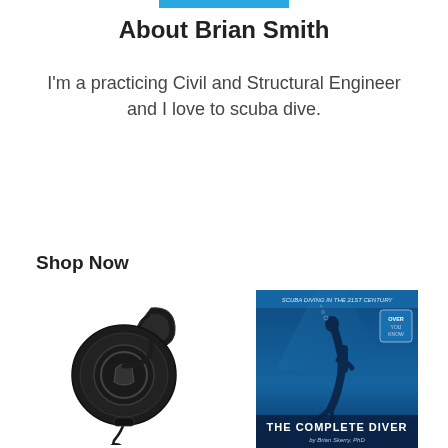[Figure (other): Thin blue horizontal bar at top center of page]
About Brian Smith
I'm a practicing Civil and Structural Engineer and I love to scuba dive.
Shop Now
[Figure (photo): Black retractable gear keeper / badge reel with carabiner clip and lanyard loop]
[Figure (photo): Book cover for 'The Complete Diver' showing a scuba diver silhouette underwater with blue tones]